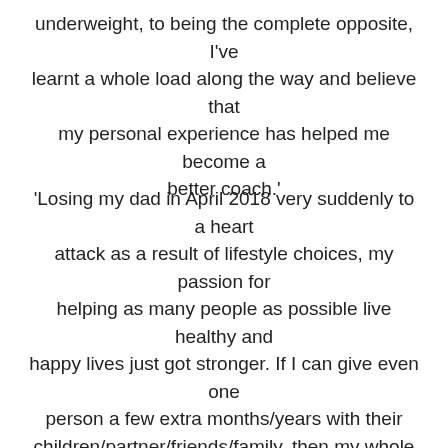underweight, to being the complete opposite, I've learnt a whole load along the way and believe that my personal experience has helped me become a better coach.'
'Losing my dad in April 2018 very suddenly to a heart attack as a result of lifestyle choices, my passion for helping as many people as possible live healthy and happy lives just got stronger. If I can give even one person a few extra months/years with their children/partner/friends/family, then my whole career will have been worth while.'